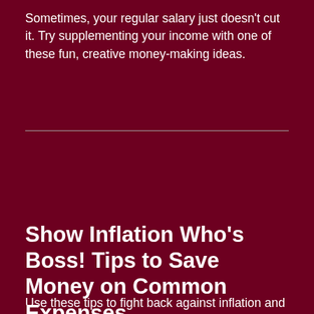Sometimes, your regular salary just doesn't cut it. Try supplementing your income with one of these fun, creative money-making ideas.
Show Inflation Who's Boss! Tips to Save Money on Common Expenses
Use these tips to fight back against inflation and keep